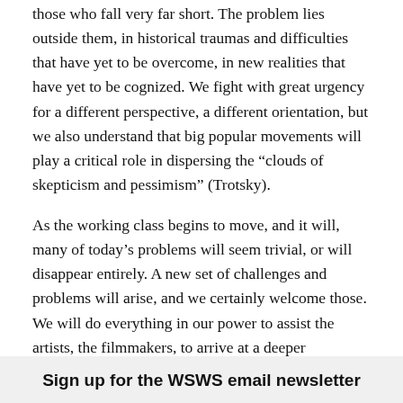those who fall very far short. The problem lies outside them, in historical traumas and difficulties that have yet to be overcome, in new realities that have yet to be cognized. We fight with great urgency for a different perspective, a different orientation, but we also understand that big popular movements will play a critical role in dispersing the “clouds of skepticism and pessimism” (Trotsky).
As the working class begins to move, and it will, many of today’s problems will seem trivial, or will disappear entirely. A new set of challenges and problems will arise, and we certainly welcome those. We will do everything in our power to assist the artists, the filmmakers, to arrive at a deeper understanding of the historical and social issues involved.
Sign up for the WSWS email newsletter